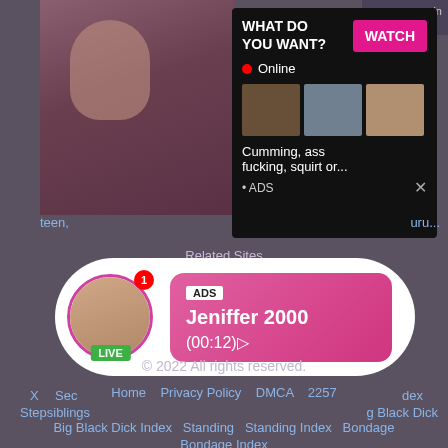[Figure (screenshot): Adult video thumbnail with HD badge]
[Figure (screenshot): Ad popup overlay with WHAT DO YOU WANT? WATCH button, Online indicator, three mini thumbnails, text 'Cumming, ass fucking, squirt or...' and ADS label]
teen,
uru...
Related Sites
[Figure (screenshot): Live chat popup with avatar, LIVE badge, notification badge showing 1, ADS label, name Jeniffer 2000, time (00:12)]
X
Sec
dex
Stepsiblings
g Black Dick
Big Black Dick Index    Standing    Standing Index    Bondage
Bondage Index
© 2022 All rights reserved.
Home    Privacy Policy    DMCA    2257